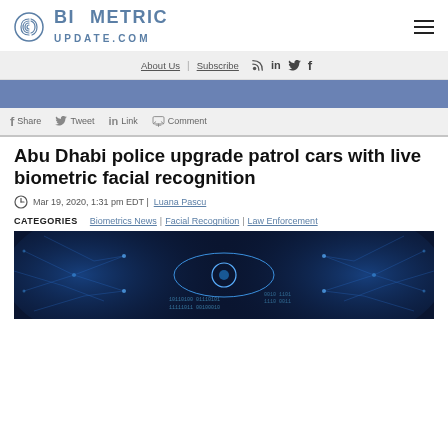BIOMETRIC UPDATE.COM
About Us | Subscribe
Abu Dhabi police upgrade patrol cars with live biometric facial recognition
Mar 19, 2020, 1:31 pm EDT | Luana Pascu
CATEGORIES  Biometrics News | Facial Recognition | Law Enforcement
[Figure (photo): Digital eye with binary code overlay, blue glowing neural network facial recognition concept image]